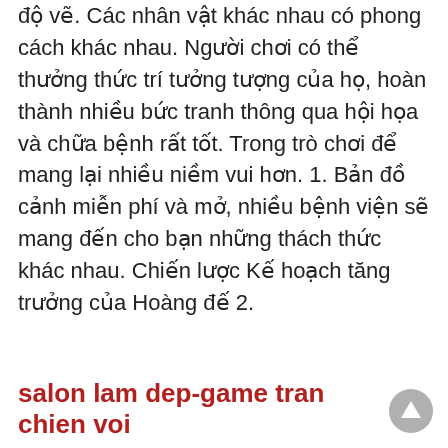độ vẽ. Các nhân vật khác nhau có phong cách khác nhau. Người chơi có thể thưởng thức trí tưởng tượng của họ, hoàn thành nhiều bức tranh thông qua hội họa và chữa bệnh rất tốt. Trong trò chơi để mang lại nhiều niềm vui hơn. 1. Bản đồ cảnh miễn phí và mở, nhiều bệnh viện sẽ mang đến cho bạn những thách thức khác nhau. Chiến lược Kế hoạch tăng trưởng của Hoàng đế 2.
salon lam dep-game tran chien voi